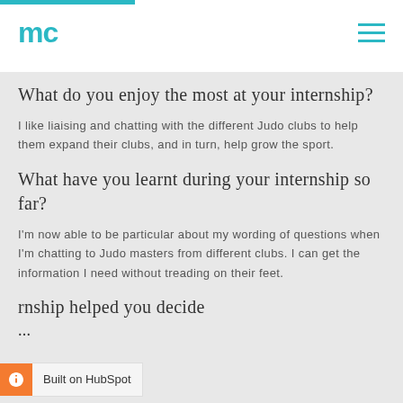mc (logo with navigation menu)
What do you enjoy the most at your internship?
I like liaising and chatting with the different Judo clubs to help them expand their clubs, and in turn, help grow the sport.
What have you learnt during your internship so far?
I'm now able to be particular about my wording of questions when I'm chatting to Judo masters from different clubs. I can get the information I need without treading on their feet.
...rnship helped you decide ...